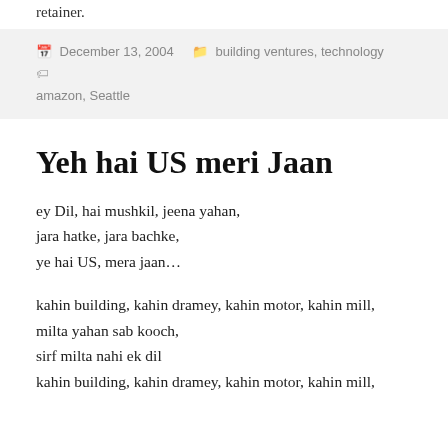retainer.
December 13, 2004   building ventures, technology   amazon, Seattle
Yeh hai US meri Jaan
ey Dil, hai mushkil, jeena yahan,
jara hatke, jara bachke,
ye hai US, mera jaan...
kahin building, kahin dramey, kahin motor, kahin mill,
milta yahan sab kooch,
sirf milta nahi ek dil
kahin building, kahin dramey, kahin motor, kahin mill,